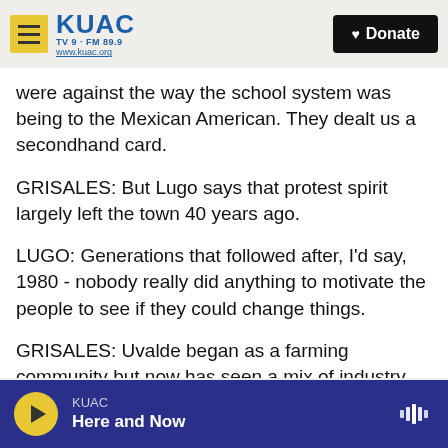KUAC TV 9 · FM 89.9 www.kuac.org | Donate
were against the way the school system was being to the Mexican American. They dealt us a secondhand card.
GRISALES: But Lugo says that protest spirit largely left the town 40 years ago.
LUGO: Generations that followed after, I'd say, 1980 - nobody really did anything to motivate the people to see if they could change things.
GRISALES: Uvalde began as a farming community but now has seen a mix of industry jobs come into town, including many fast food employers offering
KUAC | Here and Now